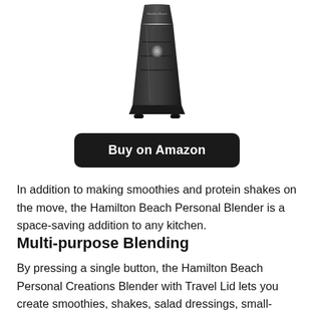[Figure (photo): A black Hamilton Beach personal blender photographed from the front, showing the motor base with logo and a single button/control on the front.]
[Figure (other): A dark rounded rectangle button with bold white text reading 'Buy on Amazon']
In addition to making smoothies and protein shakes on the move, the Hamilton Beach Personal Blender is a space-saving addition to any kitchen.
Multi-purpose Blending
By pressing a single button, the Hamilton Beach Personal Creations Blender with Travel Lid lets you create smoothies, shakes, salad dressings, small-batch salsas, and more to your chosen consistency and flavor.